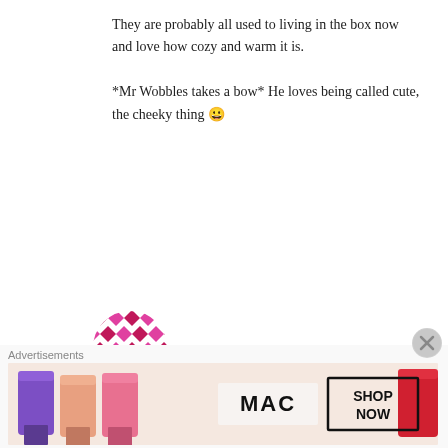They are probably all used to living in the box now and love how cozy and warm it is.

*Mr Wobbles takes a bow* He loves being called cute, the cheeky thing 😀
★ Liked by 1 person
Reply ↓
[Figure (logo): Circular geometric mosaic avatar in pink/magenta and white diamond pattern]
Traveller at heart on 8 November 2015 at 4:22 AM said:
Advertisements
[Figure (photo): MAC cosmetics advertisement showing lipsticks in purple, peach, and pink colors with MAC logo and SHOP NOW box]